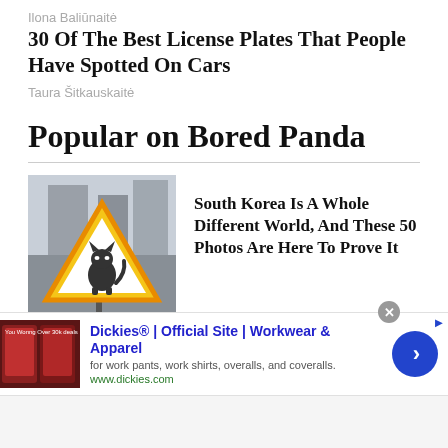Ilona Baliūnaitė
30 Of The Best License Plates That People Have Spotted On Cars
Taura Šitkauskaitė
Popular on Bored Panda
[Figure (photo): Warning road sign with a cat silhouette inside a yellow triangle, mounted on a post on a city street.]
South Korea Is A Whole Different World, And These 50 Photos Are Here To Prove It
[Figure (photo): Advertisement banner for Dickies workwear showing red car interior seats on the left thumbnail.]
Dickies® | Official Site | Workwear & Apparel
for work pants, work shirts, overalls, and coveralls.
www.dickies.com